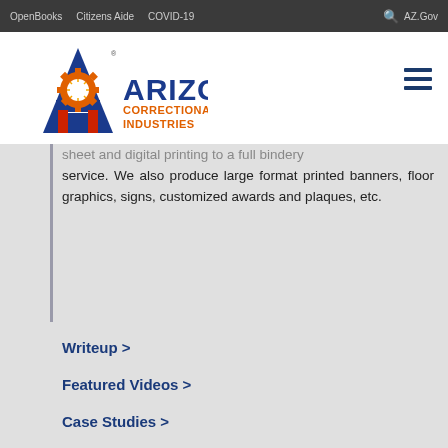OpenBooks   Citizens Aide   COVID-19   AZ.Gov
[Figure (logo): Arizona Correctional Industries logo with blue letter A, orange gear, Arizona state flag sun, and red pillars, with text ARIZONA CORRECTIONAL INDUSTRIES]
sheet and digital printing to a full bindery service. We also produce large format printed banners, floor graphics, signs, customized awards and plaques, etc.
Writeup >
Featured Videos >
Case Studies >